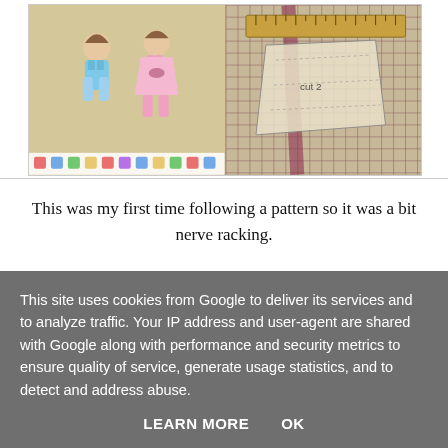[Figure (photo): Two side-by-side photos: left photo shows children's sewing pattern illustrations (a blue romper and pink dress) on a yellow background; right photo shows plaid fabric with a ruler and pattern pieces laid on it.]
This was my first time following a pattern so it was a bit nerve racking.
I felt for a while like I was reading something in French. I made a lot of mistakes along the way- I had to unpick the whole darn thing at least three times.
This site uses cookies from Google to deliver its services and to analyze traffic. Your IP address and user-agent are shared with Google along with performance and security metrics to ensure quality of service, generate usage statistics, and to detect and address abuse.
LEARN MORE   OK